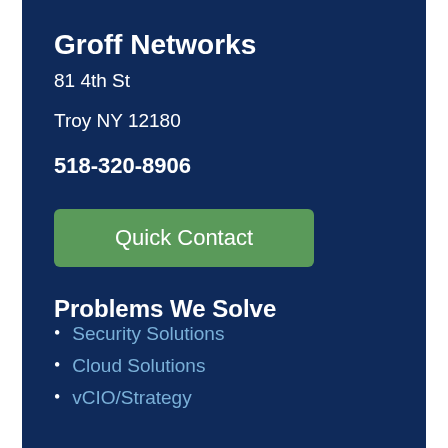Groff Networks
81 4th St
Troy NY 12180
518-320-8906
[Figure (other): Green button labeled 'Quick Contact']
Problems We Solve
Security Solutions
Cloud Solutions
vCIO/Strategy